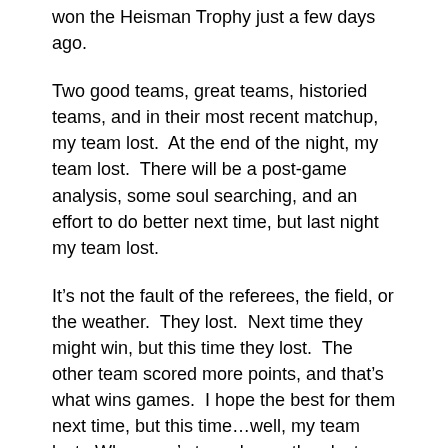won the Heisman Trophy just a few days ago.
Two good teams, great teams, historied teams, and in their most recent matchup, my team lost.  At the end of the night, my team lost.  There will be a post-game analysis, some soul searching, and an effort to do better next time, but last night my team lost.
It’s not the fault of the referees, the field, or the weather.  They lost.  Next time they might win, but this time they lost.  The other team scored more points, and that’s what wins games.  I hope the best for them next time, but this time…well, my team lost.  When one’s team loses, they lost.
Honestly, this post isn’t about football at all, now is it?